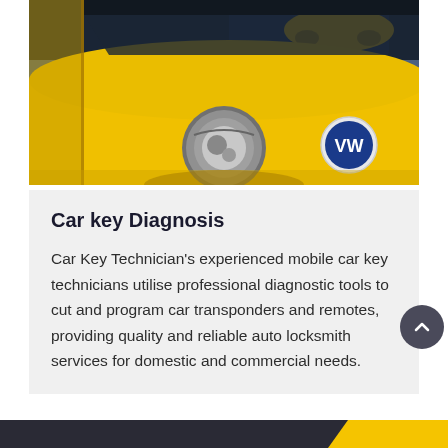[Figure (photo): Close-up photo of a yellow Volkswagen Beetle showing the front headlight and VW logo emblem, with another yellow VW Beetle reflected in the windshield in the background]
Car key Diagnosis
Car Key Technician's experienced mobile car key technicians utilise professional diagnostic tools to cut and program car transponders and remotes, providing quality and reliable auto locksmith services for domestic and commercial needs.